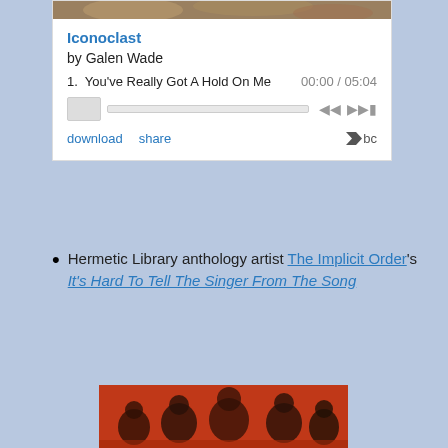[Figure (screenshot): Bandcamp music player embed showing album 'Iconoclast' by Galen Wade. Track 1: You've Really Got A Hold On Me, 00:00 / 05:04. Player controls including progress bar, prev/next buttons. Download and share links. Bandcamp logo.]
Hermetic Library anthology artist The Implicit Order's It's Hard To Tell The Singer From The Song
[Figure (photo): Orange-tinted photograph of people sitting in a circle on the floor, appearing to be in conversation. Album artwork for The Implicit Order.]